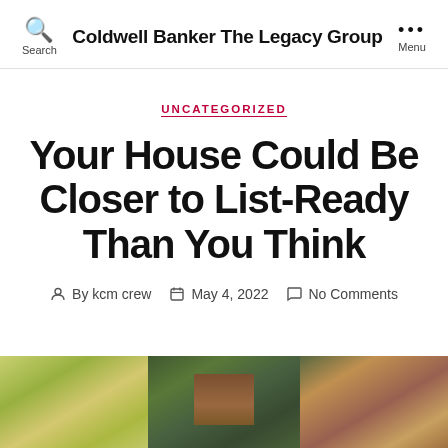Coldwell Banker The Legacy Group
UNCATEGORIZED
Your House Could Be Closer to List-Ready Than You Think
By kcm crew  May 4, 2022  No Comments
[Figure (photo): Exterior photo of a house surrounded by autumn trees with colorful foliage in yellows, greens, and reds]